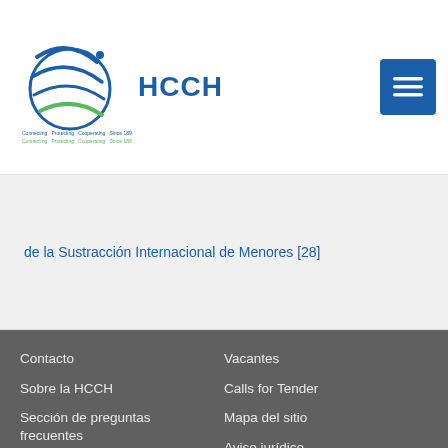HCCH
de la Sustracción Internacional de Menores [28]
Contacto | Vacantes | Sobre la HCCH | Calls for Tender | Sección de preguntas frecuentes | Mapa del sitio | Aviso jurídico | Noticias (Archivo) | Últimas actualizaciones